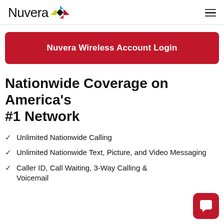Nuvera
Nuvera Wireless Account Login
Nationwide Coverage on America's #1 Network
Unlimited Nationwide Calling
Unlimited Nationwide Text, Picture, and Video Messaging
Caller ID, Call Waiting, 3-Way Calling & Voicemail